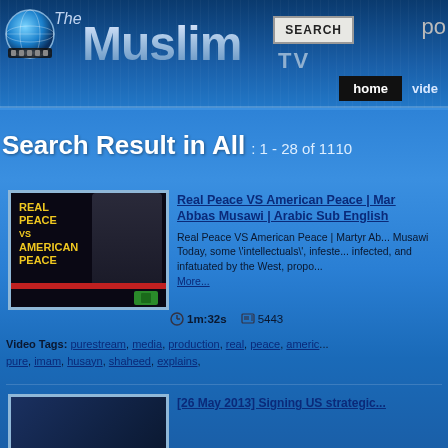The Muslim.net TV — home | video
Search Result in All : 1 - 28 of 1110
[Figure (screenshot): Video thumbnail for Real Peace VS American Peace showing text 'REAL PEACE VS AMERICAN PEACE' on black background with a man]
Real Peace VS American Peace | Martyr Abbas Musawi | Arabic Sub English
Real Peace VS American Peace | Martyr Abbas Musawi Today, some \"intellectuals\", infested, infected, and infatuated by the West, propo... More...
1m:32s   5443
Video Tags: purestream, media, production, real, peace, americ... pure, imam, husayn, shaheed, explains,
[26 May 2013] Signing US strategic...